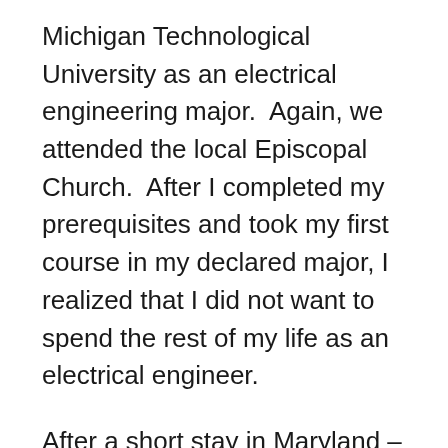Michigan Technological University as an electrical engineering major.  Again, we attended the local Episcopal Church.  After I completed my prerequisites and took my first course in my declared major, I realized that I did not want to spend the rest of my life as an electrical engineer.
After a short stay in Maryland – near my half-brother – we moved to Southern California and again became active in our attendance in the local Episcopal Church.  The war in Vietnam was escalating and through the influence of fellow students at the University of California, Riverside we had become